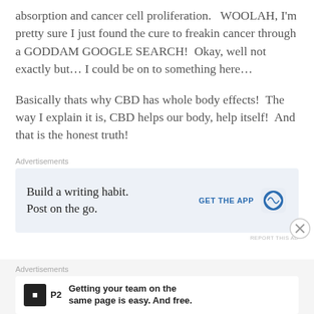absorption and cancer cell proliferation.   WOOLAH, I'm pretty sure I just found the cure to freakin cancer through a GODDAM GOOGLE SEARCH!  Okay, well not exactly but… I could be on to something here…
Basically thats why CBD has whole body effects!  The way I explain it is, CBD helps our body, help itself!  And that is the honest truth!
Advertisements
[Figure (other): Advertisement for WordPress app: 'Build a writing habit. Post on the go.' with GET THE APP button and WordPress logo]
Advertisements
[Figure (other): Advertisement for P2: 'Getting your team on the same page is easy. And free.' with P2 logo]